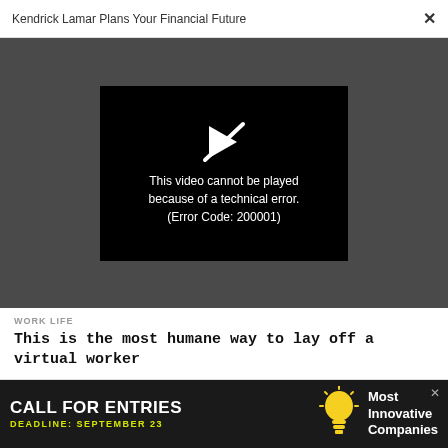Kendrick Lamar Plans Your Financial Future  ×
[Figure (screenshot): Video player showing error message: 'This video cannot be played because of a technical error. (Error Code: 200001)' on black background, set within a dark gray video container area.]
WORK LIFE
This is the most humane way to lay off a virtual worker
WORK LIFE
Is my casual attire too loose for corner-office
[Figure (infographic): Advertisement banner: 'CALL FOR ENTRIES DEADLINE: SEPTEMBER 23' with lightbulb icon and 'Most Innovative Companies' text on dark background.]